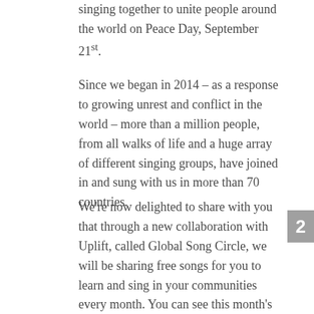singing together to unite people around the world on Peace Day, September 21st.
Since we began in 2014 – as a response to growing unrest and conflict in the world – more than a million people, from all walks of life and a huge array of different singing groups, have joined in and sung with us in more than 70 countries.
We're now delighted to share with you that through a new collaboration with Uplift, called Global Song Circle, we will be sharing free songs for you to learn and sing in your communities every month. You can see this month's song below and access all of the other songs here.